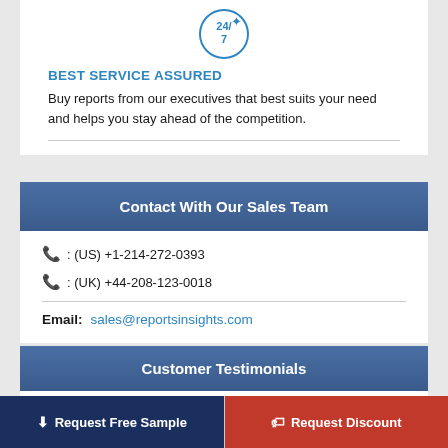[Figure (illustration): 24/7 service clock icon with circular border]
BEST SERVICE ASSURED
Buy reports from our executives that best suits your need and helps you stay ahead of the competition.
Contact With Our Sales Team
☎ : (US) +1-214-272-0393
☎ : (UK) +44-208-123-0018
Email:   sales@reportsinsights.com
Customer Testimonials
The report is pretty good as a whole. Especially, the
Request Free Sample
Request Discount